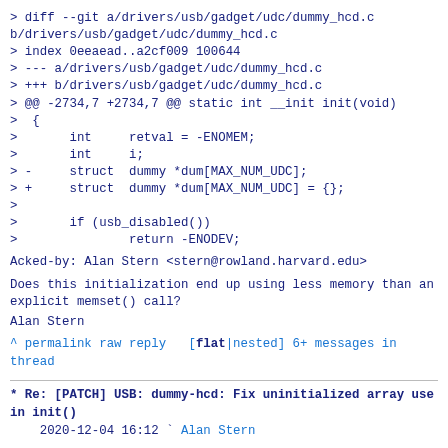[Figure (screenshot): Git diff patch snippet showing changes to drivers/usb/gadget/udc/dummy_hcd.c, with context lines marked by '>' showing a diff of struct dummy array initialization]
Acked-by: Alan Stern <stern@rowland.harvard.edu>
Does this initialization end up using less memory than an explicit
memset() call?
Alan Stern
^ permalink raw reply   [flat|nested] 6+ messages in thread
* Re: [PATCH] USB: dummy-hcd: Fix uninitialized array use in init()
2020-12-04 16:12 ` Alan Stern